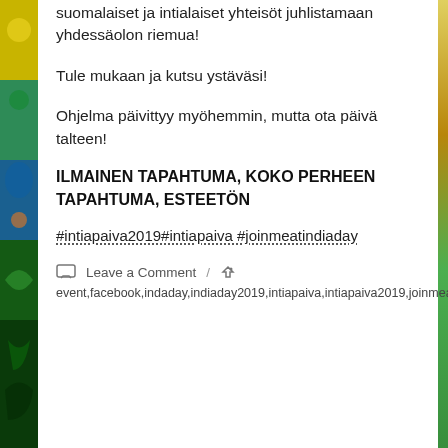suomalaiset ja intialaiset yhteisöt juhlistamaan yhdessäolon riemua!
Tule mukaan ja kutsu ystäväsi!
Ohjelma päivittyy myöhemmin, mutta ota päivä talteen!
ILMAINEN TAPAHTUMA, KOKO PERHEEN TAPAHTUMA, ESTEETÖN
#intiapaiva2019#intiapaiva #joinmeatindiaday
Leave a Comment / event,facebook,indaday,indiaday2019,intiapaiva,intiapaiva2019,joinmeatindiaday,welcome
[Figure (illustration): Decorative Indian/peacock themed border on left side and bottom of page. reCAPTCHA box in bottom right corner.]